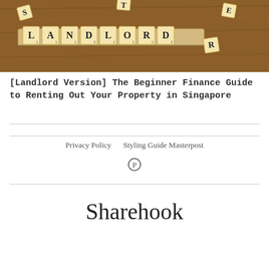[Figure (photo): Scrabble tiles spelling LANDLORD on a wooden surface with scattered letter tiles]
[Landlord Version] The Beginner Finance Guide to Renting Out Your Property in Singapore
Privacy Policy   Styling Guide Masterpost
Sharehook